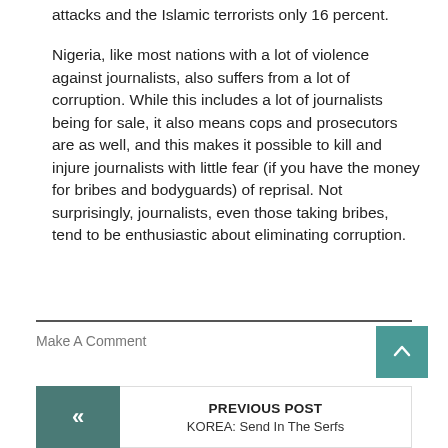attacks and the Islamic terrorists only 16 percent.
Nigeria, like most nations with a lot of violence against journalists, also suffers from a lot of corruption. While this includes a lot of journalists being for sale, it also means cops and prosecutors are as well, and this makes it possible to kill and injure journalists with little fear (if you have the money for bribes and bodyguards) of reprisal. Not surprisingly, journalists, even those taking bribes, tend to be enthusiastic about eliminating corruption.
Make A Comment
PREVIOUS POST
KOREA: Send In The Serfs